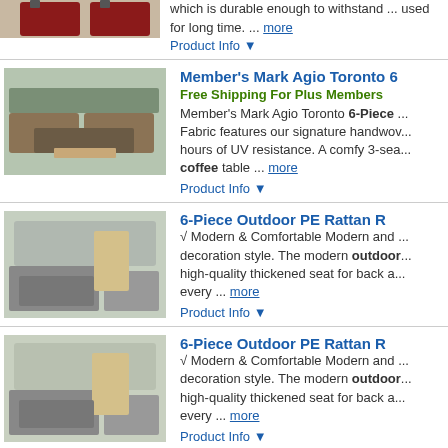which is durable enough to withstand ... used for long time. ... more
Product Info ▼
Member's Mark Agio Toronto 6...
Free Shipping For Plus Members
[Figure (photo): Outdoor patio furniture set with sofa and table]
Member's Mark Agio Toronto 6-Piece ... Fabric features our signature handwov... hours of UV resistance. A comfy 3-sea... coffee table ... more
Product Info ▼
6-Piece Outdoor PE Rattan R...
[Figure (photo): Outdoor PE rattan furniture set with umbrella]
√ Modern & Comfortable Modern and ... decoration style. The modern outdoor ... high-quality thickened seat for back a... every ... more
Product Info ▼
6-Piece Outdoor PE Rattan R...
[Figure (photo): Outdoor PE rattan furniture set with umbrella]
√ Modern & Comfortable Modern and ... decoration style. The modern outdoor ... high-quality thickened seat for back a... every ... more
Product Info ▼
6-Piece Outdoor PE Rattan R...
[Figure (photo): Outdoor PE rattan furniture set]
√ Modern & Comfortable Modern and ... decoration style. The modern...